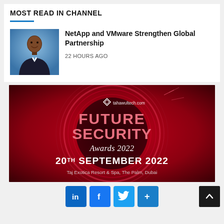MOST READ IN CHANNEL
[Figure (photo): Headshot of a smiling man in a dark suit against a blue background]
NetApp and VMware Strengthen Global Partnership
22 HOURS AGO
[Figure (infographic): Red promotional banner for Future Security Awards 2022 by tahawultech.com, event on 20th September 2022 at Taj Exotica Resort & Spa, The Palm, Dubai]
Social sharing buttons: LinkedIn, Facebook, Twitter, More